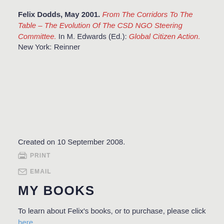Felix Dodds, May 2001. From The Corridors To The Table – The Evolution Of The CSD NGO Steering Committee. In M. Edwards (Ed.): Global Citizen Action. New York: Reinner
Created on 10 September 2008.
PRINT   EMAIL
MY BOOKS
To learn about Felix's books, or to purchase, please click here